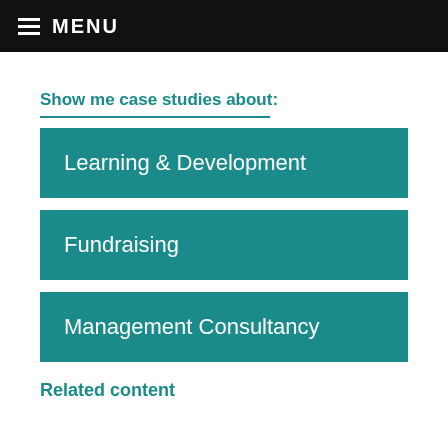MENU
Show me case studies about:
Learning & Development
Fundraising
Management Consultancy
Related content